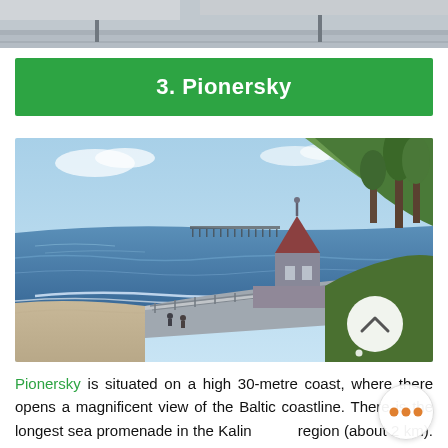[Figure (photo): Partial top of a photo showing a street or plaza scene, cropped at the top of the page]
3. Pionersky
[Figure (photo): Coastal view of Pionersky showing a beach, Baltic sea with a pier in the background, a small tower/gazebo structure on a high coast with trees, and a scroll-up navigation button overlay]
Pionersky is situated on a high 30-metre coast, where there opens a magnificent view of the Baltic coastline. There is the longest sea promenade in the Kaliningrad region (about 2 km). From the beach, you can get to the settlement Zaostrovye,